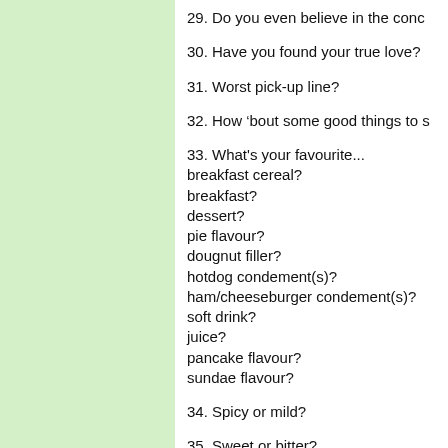29. Do you even believe in the conc
30. Have you found your true love?
31. Worst pick-up line?
32. How ‘bout some good things to s
33. What's your favourite...
breakfast cereal?
breakfast?
dessert?
pie flavour?
dougnut filler?
hotdog condement(s)?
ham/cheeseburger condement(s)?
soft drink?
juice?
pancake flavour?
sundae flavour?
34. Spicy or mild?
35. Sweet or bitter?